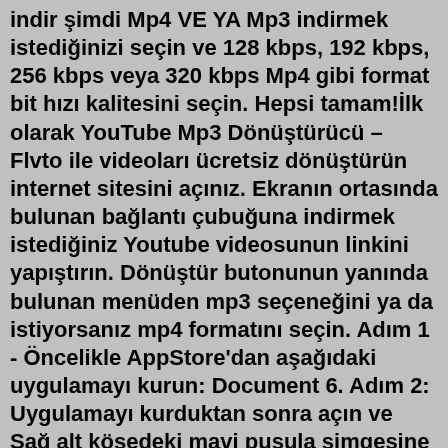indir şimdi Mp4 VE YA Mp3 indirmek istediğinizi seçin ve 128 kbps, 192 kbps, 256 kbps veya 320 kbps Mp4 gibi format bit hızı kalitesini seçin. Hepsi tamam!İlk olarak YouTube Mp3 Dönüştürücü – Flvto ile videoları ücretsiz dönüştürün internet sitesini açınız. Ekranın ortasında bulunan bağlantı çubuğuna indirmek istediğiniz Youtube videosunun linkini yapıştırın. Dönüştür butonunun yanında bulunan menüden mp3 seçeneğini ya da istiyorsanız mp4 formatını seçin. Adım 1 - Öncelikle AppStore'dan aşağıdaki uygulamayı kurun: Document 6. Adım 2: Uygulamayı kurduktan sonra açın ve Sağ alt köşedeki mavi pusula simgesine tıklayın. Adım 3: "Go to this address" yazan kısma "youtube video download" yazın. Git düğmesine tıklayın. Çıkan sonuçlardan savefrom.com sitesini seçin.Youtube'da beğendiğiniz herhangi bir şarkıyı nasıl indirebileceğinizi bu videoda öğreneceksiniz. Youtube müzik indirme ile alakalı bu videoyu beğendiyseniz b... Download by Click - Müzik & Video indirmenin en kolay yolu. 1. Web tarayıcını aç, İndirmek istediğin videonun